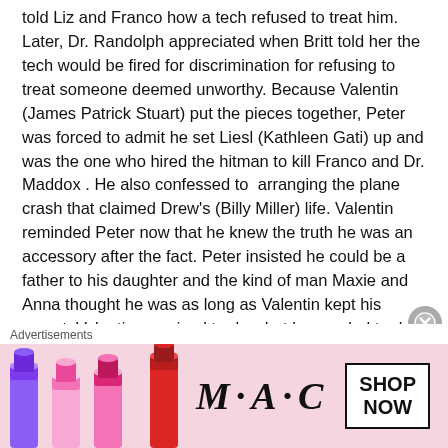told Liz and Franco how a tech refused to treat him. Later, Dr. Randolph appreciated when Britt told her the tech would be fired for discrimination for refusing to treat someone deemed unworthy. Because Valentin (James Patrick Stuart) put the pieces together, Peter was forced to admit he set Liesl (Kathleen Gati) up and was the one who hired the hitman to kill Franco and Dr. Maddox . He also confessed to  arranging the plane crash that claimed Drew's (Billy Miller) life. Valentin reminded Peter now that he knew the truth he was an accessory after the fact. Peter insisted he could be a father to his daughter and the kind of man Maxie and Anna thought he was as long as Valentin kept his secret. Valentin promised to do what he needed to do to ensure Anna and Maxie would be hurt. Meanwhile, a mysterious person addressed an envelope containing
Advertisements
[Figure (photo): M·A·C cosmetics advertisement banner showing lipsticks in purple, pink, and red colors alongside the M·A·C logo and a 'SHOP NOW' call-to-action button.]